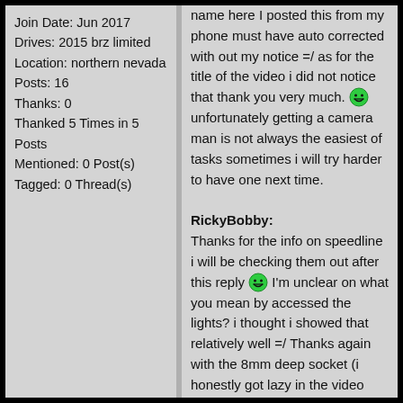Join Date: Jun 2017
Drives: 2015 brz limited
Location: northern nevada
Posts: 16
Thanks: 0
Thanked 5 Times in 5 Posts
Mentioned: 0 Post(s)
Tagged: 0 Thread(s)
name here I posted this from my phone must have auto corrected with out my notice =/ as for the title of the video i did not notice that thank you very much. 😁 unfortunately getting a camera man is not always the easiest of tasks sometimes i will try harder to have one next time.

RickyBobby:
Thanks for the info on speedline i will be checking them out after this reply 😁 I'm unclear on what you mean by accessed the lights? i thought i showed that relatively well =/ Thanks again with the 8mm deep socket (i honestly got lazy in the video and